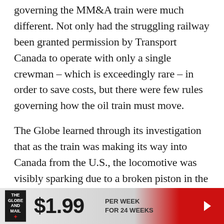governing the MM&A train were much different. Not only had the struggling railway been granted permission by Transport Canada to operate with only a single crewman – which is exceedingly rare – in order to save costs, but there were few rules governing how the oil train must move.
The Globe learned through its investigation that as the train was making its way into Canada from the U.S., the locomotive was visibly sparking due to a broken piston in the engine. Even though this caused smoke in the cabin, the engineer pressed on. Despite carrying 72 cars of potentially explosive cargo, there are no federal rules to dictate how a hazardous materials train must be handled in such
[Figure (infographic): Advertisement banner for The Globe and Mail subscription: $1.99 per week for 24 weeks, with The Globe and Mail logo on left and a red arrow on right.]